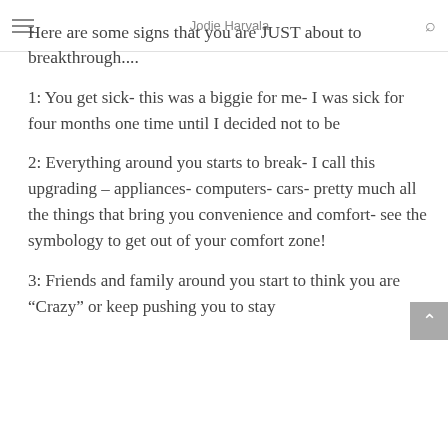Jodie Harvala
Here are some signs that you are JUST about to breakthrough....
1: You get sick- this was a biggie for me- I was sick for four months one time until I decided not to be
2: Everything around you starts to break- I call this upgrading – appliances- computers- cars- pretty much all the things that bring you convenience and comfort- see the symbology to get out of your comfort zone!
3: Friends and family around you start to think you are “Crazy” or keep pushing you to stay